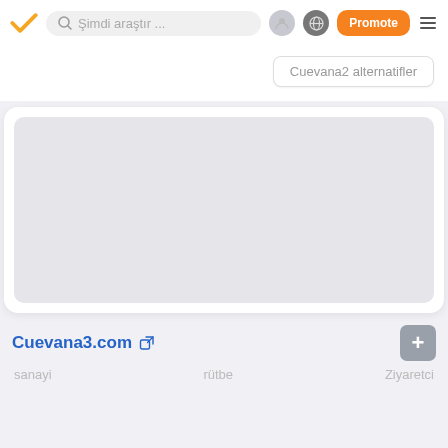Şimdi araştır ... Promote
Cuevana2 alternatifler
[Figure (screenshot): Gray placeholder screenshot area for a website preview]
Cuevana3.com
sanayi   rütbe   Ziyaretci